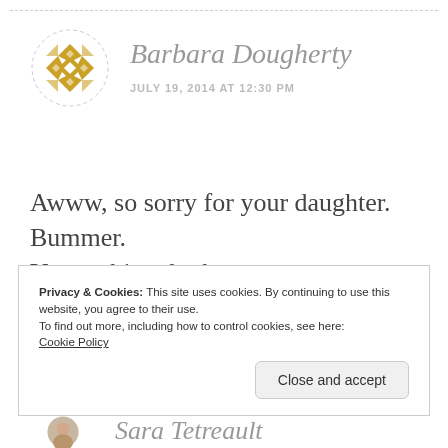[Figure (logo): Circular decorative logo/avatar with gold geometric quilt-pattern design on white background with dashed circular border]
Barbara Dougherty
JULY 19, 2014 AT 12:30 PM
Awww, so sorry for your daughter. Bummer.
Your cabinet looks awesome. Congrats
Privacy & Cookies: This site uses cookies. By continuing to use this website, you agree to their use.
To find out more, including how to control cookies, see here:
Cookie Policy
Close and accept
[Figure (photo): Partially visible circular avatar photo of Sara Tetreault at bottom of page]
Sara Tetreault